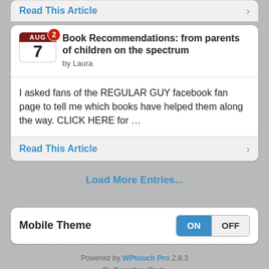Read This Article
Book Recommendations: from parents of children on the spectrum
by Laura
I asked fans of the REGULAR GUY facebook fan page to tell me which books have helped them along the way. CLICK HERE for …
Read This Article
Load More Entries...
Mobile Theme
ON  OFF
Powered by WPtouch Pro 2.8.3
By BraveNewCode